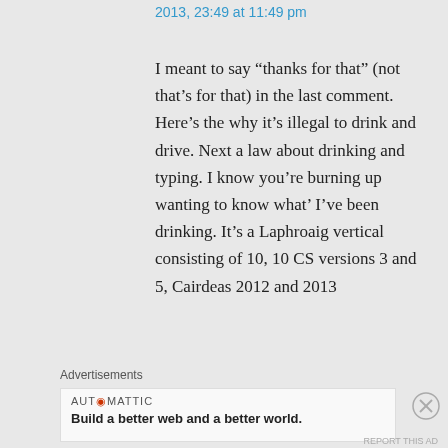2013, 23:49 at 11:49 pm
I meant to say “thanks for that” (not that’s for that) in the last comment. Here’s the why it’s illegal to drink and drive. Next a law about drinking and typing. I know you’re burning up wanting to know what’ I’ve been drinking. It’s a Laphroaig vertical consisting of 10, 10 CS versions 3 and 5, Cairdeas 2012 and 2013
Advertisements
[Figure (other): Automattic advertisement banner: AUTⓄMATTIC logo with tagline 'Build a better web and a better world.']